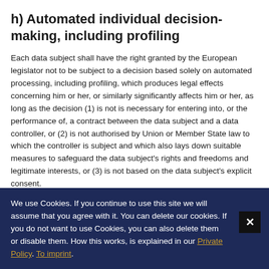h) Automated individual decision-making, including profiling
Each data subject shall have the right granted by the European legislator not to be subject to a decision based solely on automated processing, including profiling, which produces legal effects concerning him or her, or similarly significantly affects him or her, as long as the decision (1) is not is necessary for entering into, or the performance of, a contract between the data subject and a data controller, or (2) is not authorised by Union or Member State law to which the controller is subject and which also lays down suitable measures to safeguard the data subject's rights and freedoms and legitimate interests, or (3) is not based on the data subject's explicit consent.
We use Cookies. If you continue to use this site we will assume that you agree with it. You can delete our cookies. If you do not want to use Cookies, you can also delete them or disable them. How this works, is explained in our Private Policy. To imprint.